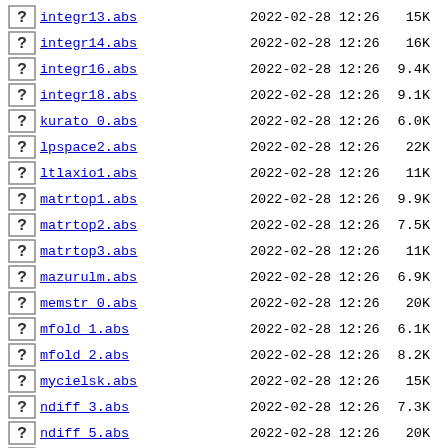integr13.abs  2022-02-28 12:26  15K
integr14.abs  2022-02-28 12:26  16K
integr16.abs  2022-02-28 12:26  9.4K
integr18.abs  2022-02-28 12:26  9.1K
kurato_0.abs  2022-02-28 12:26  6.0K
lpspace2.abs  2022-02-28 12:26  22K
ltlaxio1.abs  2022-02-28 12:26  11K
matrtop1.abs  2022-02-28 12:26  9.9K
matrtop2.abs  2022-02-28 12:26  7.5K
matrtop3.abs  2022-02-28 12:26  11K
mazurulm.abs  2022-02-28 12:26  6.9K
memstr_0.abs  2022-02-28 12:26  20K
mfold_1.abs  2022-02-28 12:26  6.1K
mfold_2.abs  2022-02-28 12:26  8.2K
mycielsk.abs  2022-02-28 12:26  15K
ndiff_3.abs  2022-02-28 12:26  7.3K
ndiff_5.abs  2022-02-28 12:26  20K
nfsont_2.abs  2022-02-28 12:26  9.0K